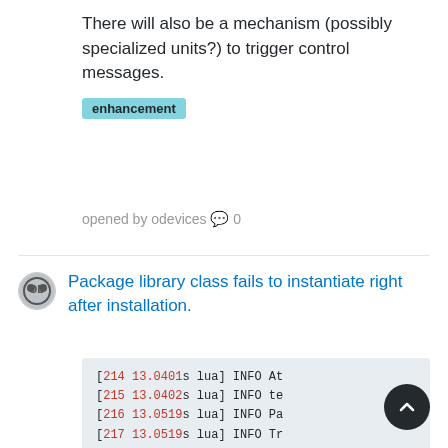There will also be a mechanism (possibly specialized units?) to trigger control messages.
enhancement
opened by odevices 💬 0
Package library class fails to instantiate right after installation.
[214 13.0401s lua] INFO At
[215 13.0402s lua] INFO te
[216 13.0519s lua] INFO Pa
[217 13.0519s lua] INFO Tr
stack traceback:
	/home/clarkson/pro
	[C]: in function